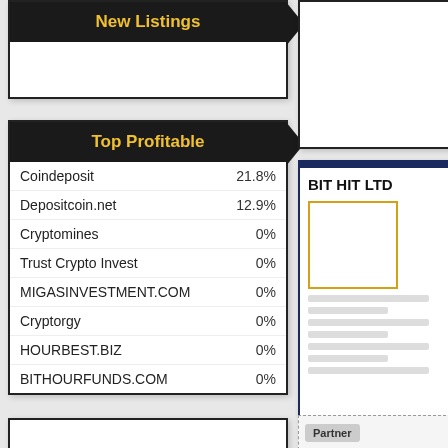New Listings
Top Profitable
| Name | Profit |
| --- | --- |
| Coindeposit | 21.8% |
| Depositcoin.net | 12.9% |
| Cryptomines | 0% |
| Trust Crypto Invest | 0% |
| MIGASINVESTMENT.COM | 0% |
| Cryptorgy | 0% |
| HOURBEST.BIZ | 0% |
| BITHOURFUNDS.COM | 0% |
BIT HIT LTD
[Figure (other): Image placeholder with gold border for BIT HIT LTD]
Partner